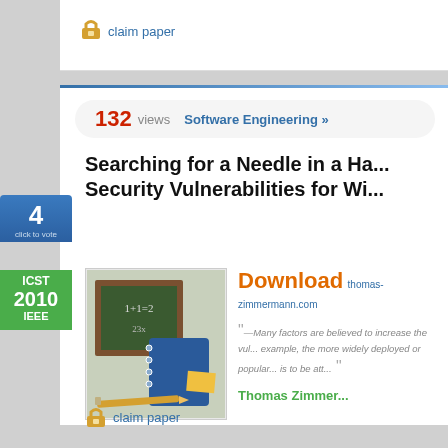[Figure (screenshot): Website screenshot of an academic paper listing on ResearchGate or similar platform showing a paper about security vulnerabilities with 132 views, a vote badge showing 4, conference badge ICST 2010 IEEE, a thumbnail image of a chalkboard with notebook, download link to thomas-zimmermann.com, abstract excerpt about vulnerability factors, and author Thomas Zimmermann]
claim paper
132 views
Software Engineering »
Searching for a Needle in a Ha... Security Vulnerabilities for Wi...
Download thomas-zimmermann.com
——Many factors are believed to increase the vul... example, the more widely deployed or popular... is to be att...
Thomas Zimmer...
claim paper